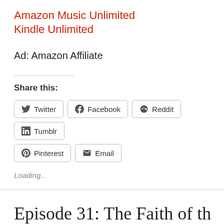Amazon Music Unlimited
Kindle Unlimited
Ad: Amazon Affiliate
Share this:
Twitter  Facebook  Reddit  Tumblr  Pinterest  Email
Loading...
Episode 31: The Faith of th